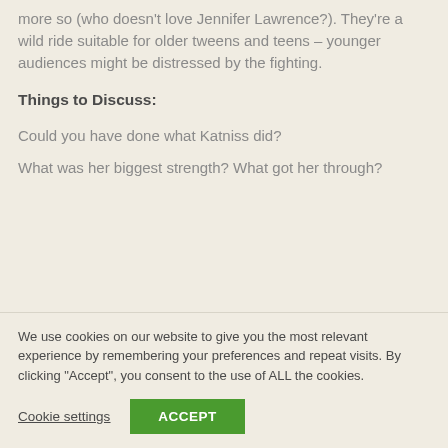The books are rich and exciting, and the movies even more so (who doesn't love Jennifer Lawrence?). They're a wild ride suitable for older tweens and teens – younger audiences might be distressed by the fighting.
Things to Discuss:
Could you have done what Katniss did?
What was her biggest strength? What got her through?
We use cookies on our website to give you the most relevant experience by remembering your preferences and repeat visits. By clicking "Accept", you consent to the use of ALL the cookies.